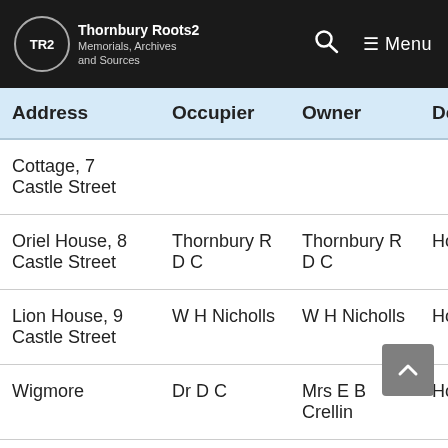TR2 Thornbury Roots2 Memorials, Archives and Sources
| Address | Occupier | Owner | Desc |
| --- | --- | --- | --- |
| Cottage, 7 Castle Street |  |  |  |
| Oriel House, 8 Castle Street | Thornbury R D C | Thornbury R D C | Hous |
| Lion House, 9 Castle Street | W H Nicholls | W H Nicholls | Hous |
| Wigmore | Dr D C | Mrs E B Crellin | Hous |